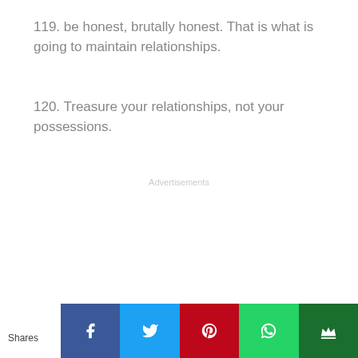119. be honest, brutally honest. That is what is going to maintain relationships.
120. Treasure your relationships, not your possessions.
Advertisements
Shares